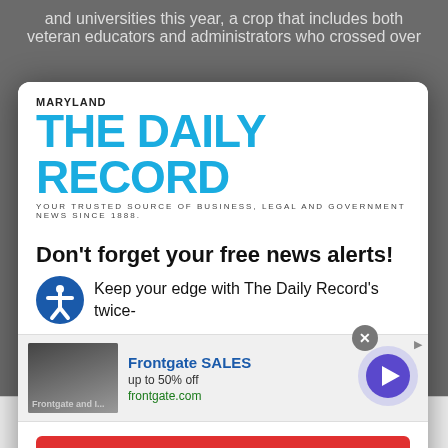and universities this year, a crop that includes both veteran educators and administrators who crossed over
[Figure (logo): Maryland The Daily Record logo — MARYLAND in black small caps above large cyan/blue bold 'THE DAILY RECORD' text, with tagline 'YOUR TRUSTED SOURCE OF BUSINESS, LEGAL AND GOVERNMENT NEWS SINCE 1888.']
Don't forget your free news alerts!
Keep your edge with The Daily Record's twice-
[Figure (infographic): Frontgate SALES advertisement banner showing outdoor furniture image on left, 'Frontgate SALES' in blue bold text, 'up to 50% off' in black, 'frontgate.com' in green, and a circular arrow button on the right. A close (X) button appears top right.]
SIGN UP FOR FREE
Cookie settings
ACCEPT